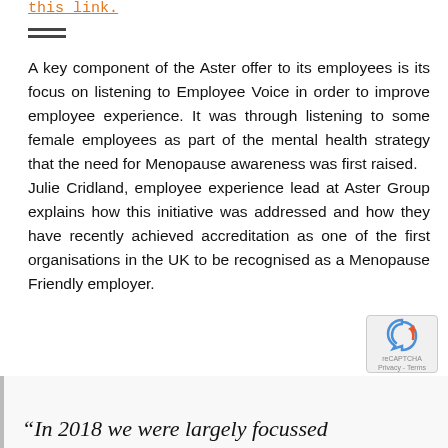this link.
A key component of the Aster offer to its employees is its focus on listening to Employee Voice in order to improve employee experience. It was through listening to some female employees as part of the mental health strategy that the need for Menopause awareness was first raised. Julie Cridland, employee experience lead at Aster Group explains how this initiative was addressed and how they have recently achieved accreditation as one of the first organisations in the UK to be recognised as a Menopause Friendly employer.
“In 2018 we were largely focussed